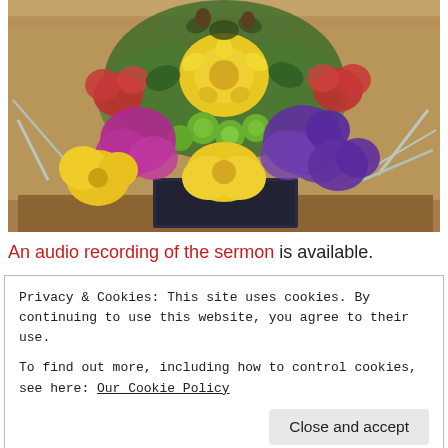[Figure (photo): A colorful floral arrangement featuring yellow, purple, magenta/red, and green flowers with silvery pine branches in a dark container, placed on a wooden surface.]
An audio recording of the sermon is available.
Privacy & Cookies: This site uses cookies. By continuing to use this website, you agree to their use.
To find out more, including how to control cookies, see here: Our Cookie Policy
Close and accept